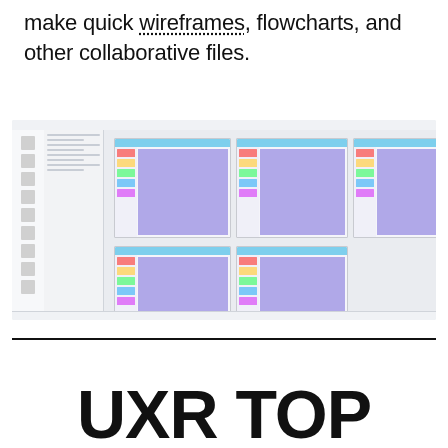make quick wireframes, flowcharts, and other collaborative files.
[Figure (screenshot): Screenshot of a collaborative design/diagramming tool (similar to Figma or Miro) showing a canvas with 5 frames/boards arranged in a grid, each containing purple/lavender colored content areas with colored sidebar bars and teal/blue headers. The interface shows a left sidebar with tools and a panel with project navigation.]
UXR TOP